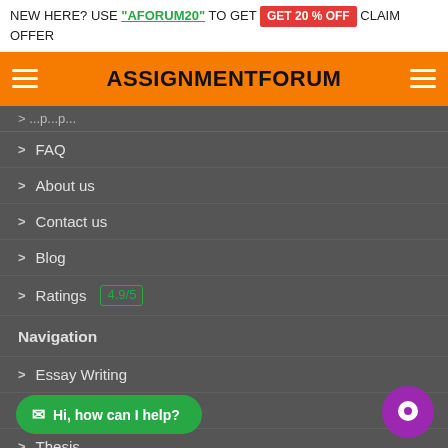NEW HERE? USE "AFORUM20" TO GET GET 20 % OFF CLAIM OFFER
ASSIGNMENTFORUM
FAQ
About us
Contact us
Blog
Ratings 4.9/5
Navigation
Essay Writing
Dissertation
Thesis
Case Study
Research